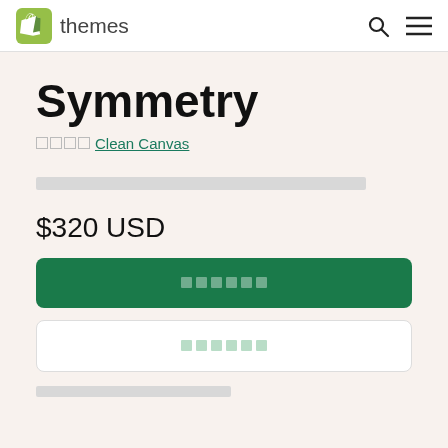Shopify themes
Symmetry
★★★★ Clean Canvas
[redacted description text]
$320 USD
[redacted button text]
[redacted button text]
[redacted footer text]